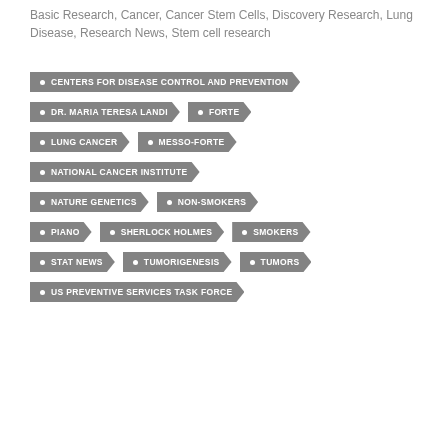Basic Research, Cancer, Cancer Stem Cells, Discovery Research, Lung Disease, Research News, Stem cell research
CENTERS FOR DISEASE CONTROL AND PREVENTION
DR. MARIA TERESA LANDI
FORTE
LUNG CANCER
MESSO-FORTE
NATIONAL CANCER INSTITUTE
NATURE GENETICS
NON-SMOKERS
PIANO
SHERLOCK HOLMES
SMOKERS
STAT NEWS
TUMORIGENESIS
TUMORS
US PREVENTIVE SERVICES TASK FORCE